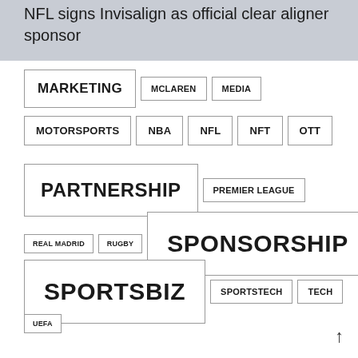NFL signs Invisalign as official clear aligner sponsor
MARKETING
MCLAREN
MEDIA
MOTORSPORTS
NBA
NFL
NFT
OTT
PARTNERSHIP
PREMIER LEAGUE
REAL MADRID
RUGBY
SPONSORSHIP
SPORTSBIZ
SPORTSTECH
TECH
UEFA